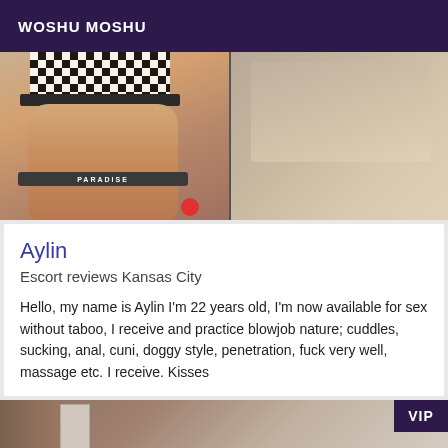WOSHU MOSHU
[Figure (photo): Two side-by-side photos: left shows a person in checkered and 'PARADISE' branded swimwear; right shows a beige/tan close-up background]
Aylin
Escort reviews Kansas City
Hello, my name is Aylin I'm 22 years old, I'm now available for sex without taboo, I receive and practice blowjob nature; cuddles, sucking, anal, cuni, doggy style, penetration, fuck very well, massage etc. I receive. Kisses
[Figure (photo): Partial photo at bottom showing a brick wall and door, with a purple VIP badge in the top-right corner]